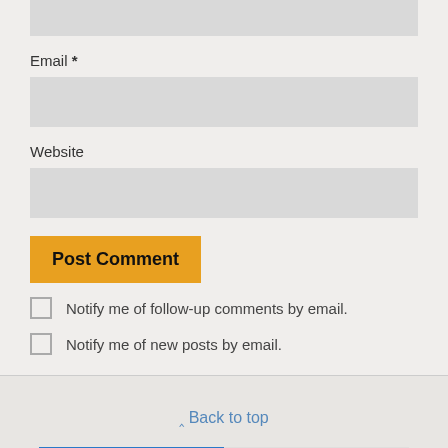[Figure (screenshot): Top input field (partial, cut off at top of page) — a gray text input box]
Email *
[Figure (screenshot): Gray text input field for Email]
Website
[Figure (screenshot): Gray text input field for Website]
[Figure (screenshot): Orange 'Post Comment' button]
Notify me of follow-up comments by email.
Notify me of new posts by email.
⌃ Back to top
[Figure (screenshot): Mobile / Desktop toggle bar at bottom. Mobile button highlighted in blue, Desktop button in light gray.]